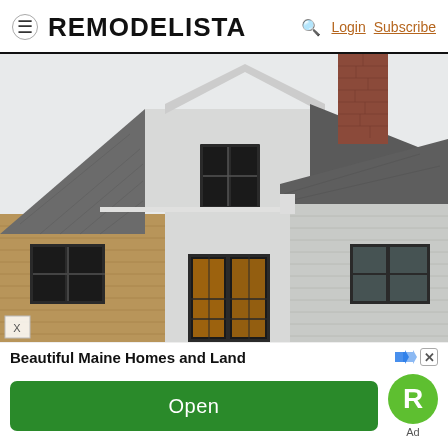REMODELISTA  Login  Subscribe
[Figure (photo): Exterior photo of a New England style home with cedar shingle siding, dark window frames, French doors with warm interior light, dark shingled roof, brick chimney, and white painted additions.]
Beautiful Maine Homes and Land
Open
[Figure (logo): Green circular badge with white letter R — Realtor or app logo]
Ad